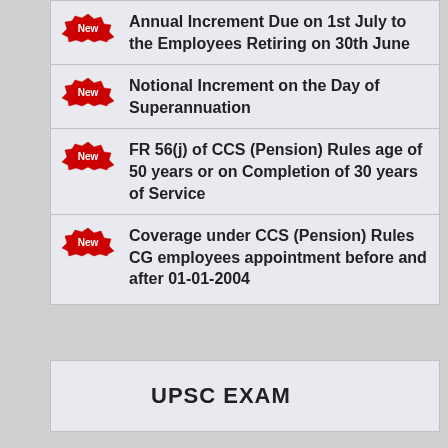Annual Increment Due on 1st July to the Employees Retiring on 30th June
Notional Increment on the Day of Superannuation
FR 56(j) of CCS (Pension) Rules age of 50 years or on Completion of 30 years of Service
Coverage under CCS (Pension) Rules CG employees appointment before and after 01-01-2004
UPSC EXAM